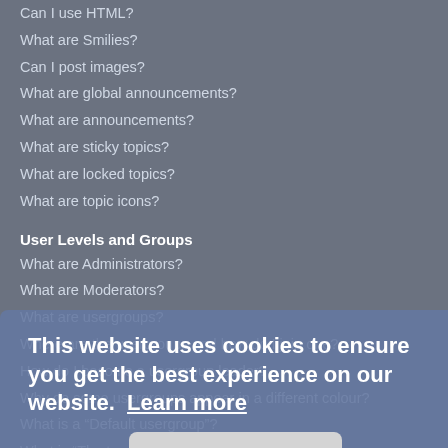Can I use HTML?
What are Smilies?
Can I post images?
What are global announcements?
What are announcements?
What are sticky topics?
What are locked topics?
What are topic icons?
User Levels and Groups
What are Administrators?
What are Moderators?
What are usergroups?
Where are the usergroups and how do I join one?
How do I become a usergroup leader?
Why do some usergroups appear in a different colour?
What is a “Default usergroup”?
What is “The team” link?
This website uses cookies to ensure you get the best experience on our website. Learn more
Got it!
I cannot send private messages!
I have received a spamming or abusive email from someone on this board!
Friends and Foes
What are my Friends and Foes lists?
How can I add / remove users to my Friends or Foes list?